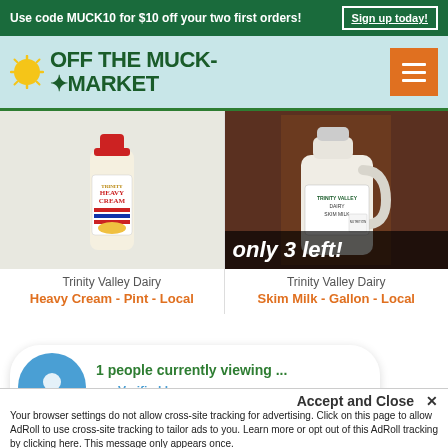Use code MUCK10 for $10 off your two first orders! Sign up today!
[Figure (logo): Off The Muck Market logo with sun icon and green leaf text]
[Figure (photo): Trinity Valley Dairy Heavy Cream Pint bottle on white background]
Trinity Valley Dairy
Heavy Cream - Pint - Local
[Figure (photo): Trinity Valley Dairy Skim Milk Gallon jug on wooden background with 'only 3 left!' overlay]
Trinity Valley Dairy
Skim Milk - Gallon - Local
1 people currently viewing ...
Verified by Provely
Accept and Close ✕
Your browser settings do not allow cross-site tracking for advertising. Click on this page to allow AdRoll to use cross-site tracking to tailor ads to you. Learn more or opt out of this AdRoll tracking by clicking here. This message only appears once.